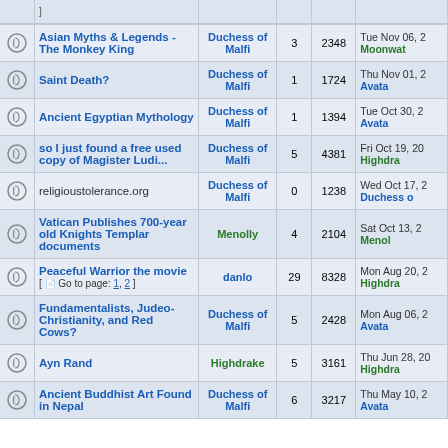|  | Topic | Author | Replies | Views | Last Post |
| --- | --- | --- | --- | --- | --- |
|  | Asian Myths & Legends - The Monkey King | Duchess of Malfi | 3 | 2348 | Tue Nov 06, 2
Moonwat |
|  | Saint Death? | Duchess of Malfi | 1 | 1724 | Thu Nov 01, 2
Avata |
|  | Ancient Egyptian Mythology | Duchess of Malfi | 1 | 1394 | Tue Oct 30, 2
Avata |
|  | so I just found a free used copy of Magister Ludi... | Duchess of Malfi | 5 | 4381 | Fri Oct 19, 20
Highdra |
|  | religioustolerance.org | Duchess of Malfi | 0 | 1238 | Wed Oct 17, 2
Duchess o |
|  | Vatican Publishes 700-year old Knights Templar documents | Menolly | 4 | 2104 | Sat Oct 13, 2
Menol |
|  | Peaceful Warrior the movie [ Go to page: 1, 2 ] | danlo | 29 | 8328 | Mon Aug 20, 2
Highdra |
|  | Fundamentalists, Judeo-Christianity, and Red Cows? | Duchess of Malfi | 5 | 2428 | Mon Aug 06, 2
Avata |
|  | Ayn Rand | Highdrake | 5 | 3161 | Thu Jun 28, 20
Highdra |
|  | Ancient Buddhist Art Found in Nepal | Duchess of Malfi | 6 | 3217 | Thu May 10, 2
Avata |